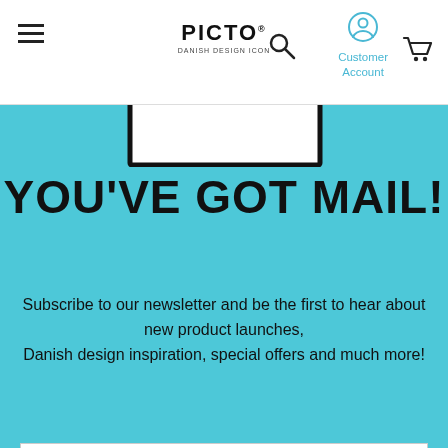[Figure (logo): PICTO Danish Design Icon logo with hamburger menu, search icon, customer account icon, and cart icon in website header]
[Figure (illustration): Partial envelope/mail icon illustration at top of teal section]
YOU'VE GOT MAIL!
Subscribe to our newsletter and be the first to hear about new product launches, Danish design inspiration, special offers and much more!
Introduzca su dirección de correo electrónico